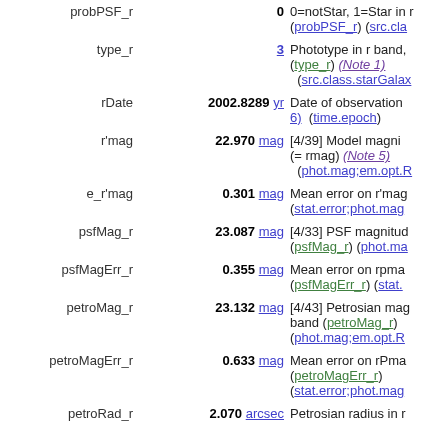| Field | Value | Description |
| --- | --- | --- |
| probPSF_r | 0 | 0=notStar, 1=Star in r (probPSF_r) (src.class...) |
| type_r | 3 | Phototype in r band, (type_r) (Note 1) (src.class.starGalaxy...) |
| rDate | 2002.8289 yr | Date of observation (Note 6) (time.epoch) |
| r'mag | 22.970 mag | [4/39] Model magnitude (= rmag) (Note 5) (phot.mag;em.opt.R...) |
| e_r'mag | 0.301 mag | Mean error on r'mag (stat.error;phot.mag...) |
| psfMag_r | 23.087 mag | [4/33] PSF magnitude (psfMag_r) (phot.mag...) |
| psfMagErr_r | 0.355 mag | Mean error on rpmag (psfMagErr_r) (stat....) |
| petroMag_r | 23.132 mag | [4/43] Petrosian magnitude r band (petroMag_r) (phot.mag;em.opt.R...) |
| petroMagErr_r | 0.633 mag | Mean error on rPmag (petroMagErr_r) (stat.error;phot.mag...) |
| petroRad_r | 2.070 arcsec | Petrosian radius in r... |